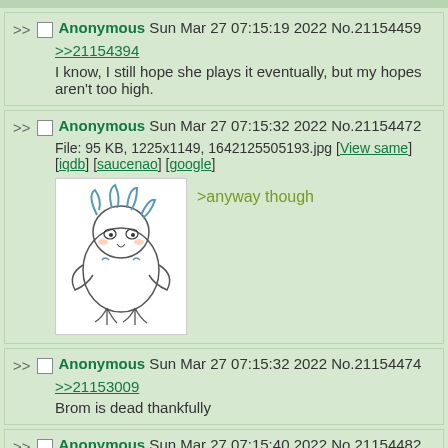Anonymous Sun Mar 27 07:15:19 2022 No.21154459
>>21154394
I know, I still hope she plays it eventually, but my hopes aren't too high.
Anonymous Sun Mar 27 07:15:32 2022 No.21154472
File: 95 KB, 1225x1149, 1642125505193.jpg [View same] [iqdb] [saucenao] [google]
>anyway though
[Figure (illustration): Anime-style sketch of a small bird-like creature hugging/sleeping]
Anonymous Sun Mar 27 07:15:32 2022 No.21154474
>>21153009
Brom is dead thankfully
Anonymous Sun Mar 27 07:15:40 2022 No.21154482
GURA SHITTING ON GRAYS